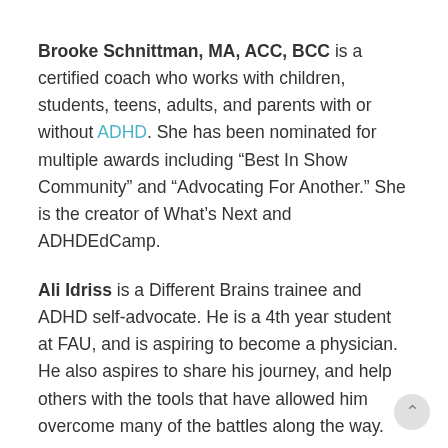Brooke Schnittman, MA, ACC, BCC is a certified coach who works with children, students, teens, adults, and parents with or without ADHD. She has been nominated for multiple awards including “Best In Show Community” and “Advocating For Another.” She is the creator of What’s Next and ADHDEdCamp.
Ali Idriss is a Different Brains trainee and ADHD self-advocate. He is a 4th year student at FAU, and is aspiring to become a physician. He also aspires to share his journey, and help others with the tools that have allowed him overcome many of the battles along the way.